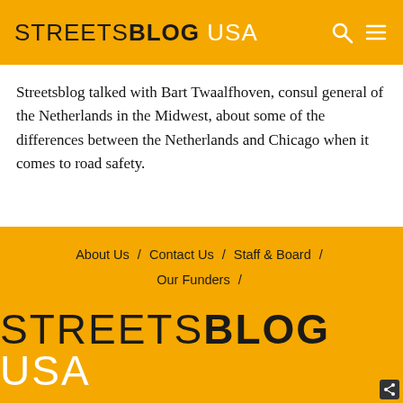STREETSBLOG USA
Streetsblog talked with Bart Twaalfhoven, consul general of the Netherlands in the Midwest, about some of the differences between the Netherlands and Chicago when it comes to road safety.
About Us / Contact Us / Staff & Board / Our Funders / Contribute to Streetsblog USA
FOLLOW US: f [twitter]
STREETSBLOG USA